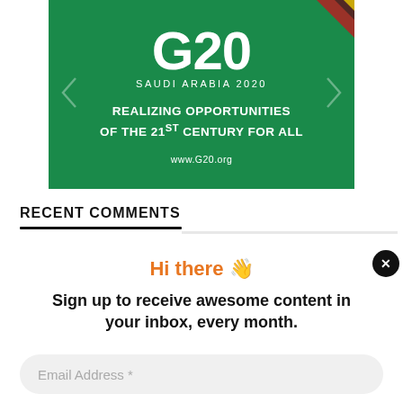[Figure (logo): G20 Saudi Arabia 2020 banner — green background with white text: G20, SAUDI ARABIA 2020, REALIZING OPPORTUNITIES OF THE 21ST CENTURY FOR ALL, www.G20.org. Decorative flag element top right. Chevron arrows on sides.]
RECENT COMMENTS
Hi there 👋
Sign up to receive awesome content in your inbox, every month.
Email Address *